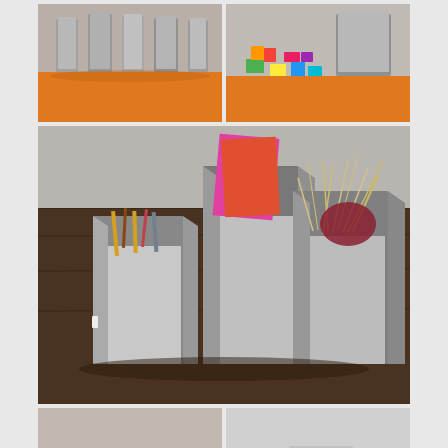[Figure (photo): Collage of 5 product photos showing grey felt folding organizer/holder boxes in various configurations: top-left shows multiple empty felt holders on orange surface, top-right shows felt holder with colorful wooden toy blocks spilled out on orange surface, middle shows three felt organizers of different sizes on dark wood table filled with stationery items (pencils, pink notebooks, dried grass/twine), bottom-left shows flat/collapsed felt organizer on orange surface, bottom-right shows felt organizer holding a rolled textile on grey/white background.]